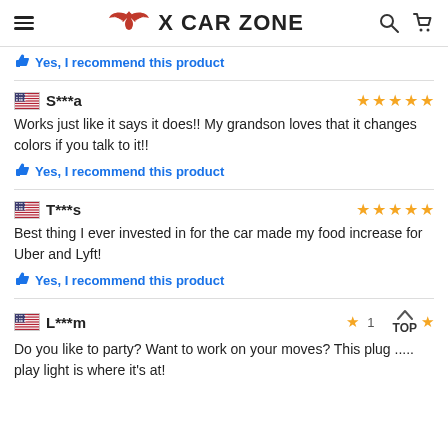X CAR ZONE
👍 Yes, I recommend this product
S***a ★★★★★
Works just like it says it does!! My grandson loves that it changes colors if you talk to it!!
👍 Yes, I recommend this product
T***s ★★★★★
Best thing I ever invested in for the car made my food increase for Uber and Lyft!
👍 Yes, I recommend this product
L***m ★
Do you like to party? Want to work on your moves? This plug ... play light is where it's at!